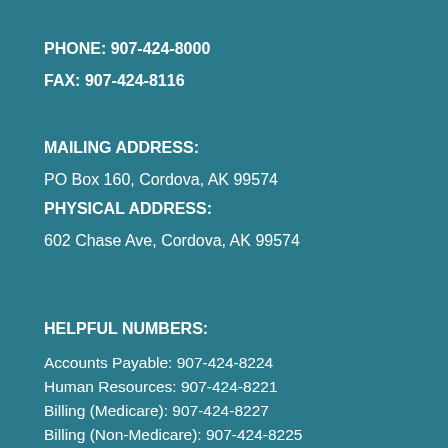PHONE: 907-424-8000
FAX: 907-424-8116
MAILING ADDRESS:
PO Box 160, Cordova, AK 99574
PHYSICAL ADDRESS:
602 Chase Ave, Cordova, AK 99574
HELPFUL NUMBERS:
Accounts Payable: 907-424-8224
Human Resources: 907-424-8221
Billing (Medicare): 907-424-8227
Billing (Non-Medicare): 907-424-8225
Medical Records: 907-424-8262
Medical Records (Fax): 907-424-8406
Primary Care Clinic: 907-424-8200